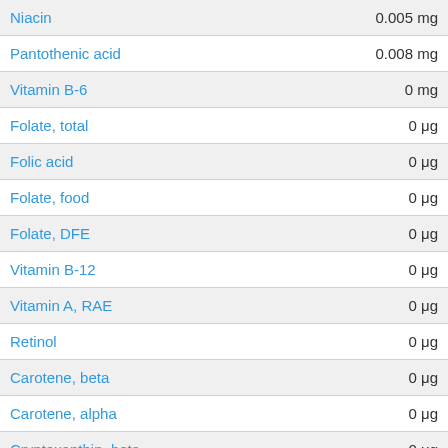| Nutrient | Amount |
| --- | --- |
| Niacin | 0.005 mg |
| Pantothenic acid | 0.008 mg |
| Vitamin B-6 | 0 mg |
| Folate, total | 0 μg |
| Folic acid | 0 μg |
| Folate, food | 0 μg |
| Folate, DFE | 0 μg |
| Vitamin B-12 | 0 μg |
| Vitamin A, RAE | 0 μg |
| Retinol | 0 μg |
| Carotene, beta | 0 μg |
| Carotene, alpha | 0 μg |
| Cryptoxanthin, beta | 0 μg |
| Vitamin A, IU | 0 IU |
| Lycopene | 0 μg |